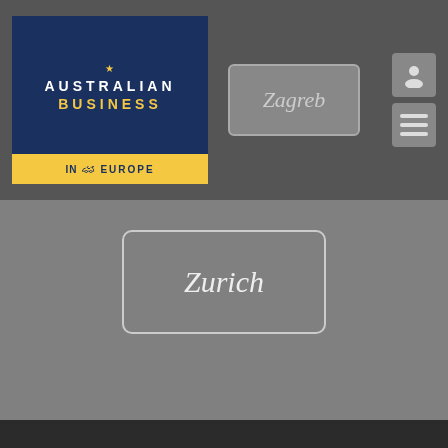[Figure (logo): Australian Business in Europe logo — dark blue background with 'AUSTRALIAN' in white bold letters and 'BUSINESS' in gold bold letters, yellow banner at bottom reading 'IN EUROPE' with a kangaroo silhouette]
Zagreb
[Figure (other): Profile icon and hamburger menu icon buttons in grey rounded square boxes]
Zurich
Copyright © 2016 by Australian Business in Europe
This website was established with the financial support of Australian Business in Europe - France, the German Australian Business Council, Australasian Business in Europe - Czech Republic, and the European Australian Business Council